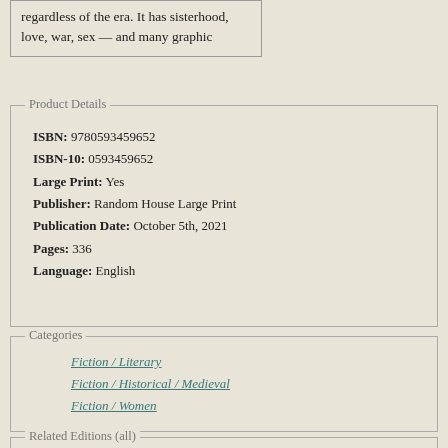regardless of the era. It has sisterhood, love, war, sex — and many graphic
Product Details
ISBN: 9780593459652
ISBN-10: 0593459652
Large Print: Yes
Publisher: Random House Large Print
Publication Date: October 5th, 2021
Pages: 336
Language: English
Categories
Fiction / Literary
Fiction / Historical / Medieval
Fiction / Women
Related Editions (all)